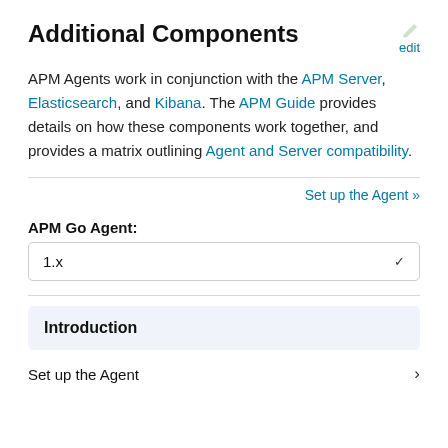Additional Components
APM Agents work in conjunction with the APM Server, Elasticsearch, and Kibana. The APM Guide provides details on how these components work together, and provides a matrix outlining Agent and Server compatibility.
Set up the Agent »
APM Go Agent:
1.x
Introduction
Set up the Agent